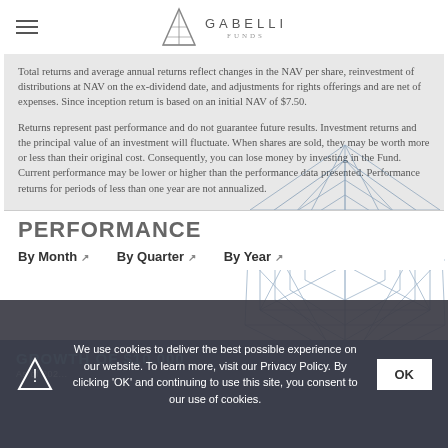GABELLI FUNDS
Total returns and average annual returns reflect changes in the NAV per share, reinvestment of distributions at NAV on the ex-dividend date, and adjustments for rights offerings and are net of expenses. Since inception return is based on an initial NAV of $7.50.

Returns represent past performance and do not guarantee future results. Investment returns and the principal value of an investment will fluctuate. When shares are sold, they may be worth more or less than their original cost. Consequently, you can lose money by investing in the Fund. Current performance may be lower or higher than the performance data presented. Performance returns for periods of less than one year are not annualized.
PERFORMANCE
By Month  By Quarter  By Year
GROWTH OF $10,000
We use cookies to deliver the best possible experience on our website. To learn more, visit our Privacy Policy. By clicking 'OK' and continuing to use this site, you consent to our use of cookies.